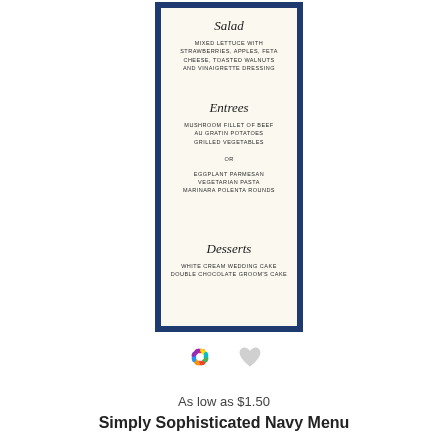[Figure (illustration): Wedding menu card with navy blue border and cream interior, showing Salad, Entrees, and Desserts sections with script headings and small caps text]
[Figure (logo): Colorful pinwheel/daisy logo icon]
[Figure (illustration): Gray heart icon for favorites/wishlist]
As low as $1.50
Simply Sophisticated Navy Menu